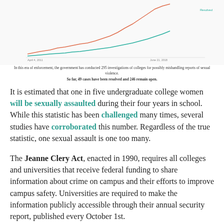[Figure (line-chart): Two line chart showing open (red/orange) and resolved (teal) investigations from April 4, 2011 to June 21, 2018. The open line rises steeply to about 246; the resolved line rises more gradually to about 49.]
In this era of enforcement, the government has conducted 295 investigations of colleges for possibly mishandling reports of sexual violence. So far, 49 cases have been resolved and 246 remain open.
It is estimated that one in five undergraduate college women will be sexually assaulted during their four years in school. While this statistic has been challenged many times, several studies have corroborated this number. Regardless of the true statistic, one sexual assault is one too many.
The Jeanne Clery Act, enacted in 1990, requires all colleges and universities that receive federal funding to share information about crime on campus and their efforts to improve campus safety. Universities are required to make the information publicly accessible through their annual security report, published every October 1st.